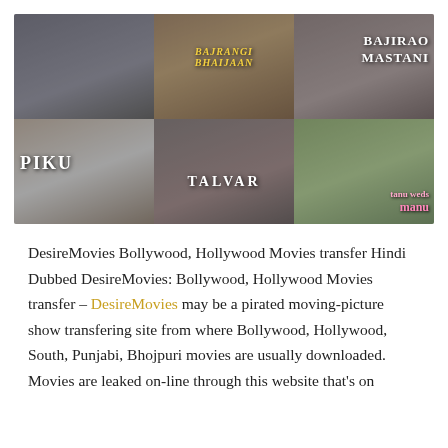[Figure (photo): A collage of Bollywood movie posters arranged in a 3x2 grid, including Piku, Bajrangi Bhaijaan, an unnamed thriller, Talvar, Bajirao Mastani, and Tanu Weds Manu. The images have a slightly faded/greyed overlay.]
DesireMovies Bollywood, Hollywood Movies transfer Hindi Dubbed DesireMovies: Bollywood, Hollywood Movies transfer – DesireMovies may be a pirated moving-picture show transfering site from where Bollywood, Hollywood, South, Punjabi, Bhojpuri movies are usually downloaded. Movies are leaked on-line through this website that's on